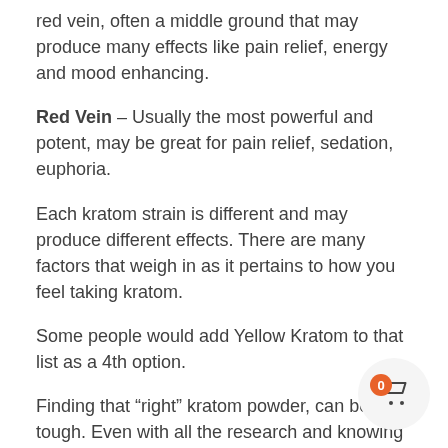red vein, often a middle ground that may produce many effects like pain relief, energy and mood enhancing.
Red Vein – Usually the most powerful and potent, may be great for pain relief, sedation, euphoria.
Each kratom strain is different and may produce different effects. There are many factors that weigh in as it pertains to how you feel taking kratom.
Some people would add Yellow Kratom to that list as a 4th option.
Finding that “right” kratom powder, can be tough. Even with all the research and knowing how kratom affects other users, you’ll never know how it affects you until you try it yourself.